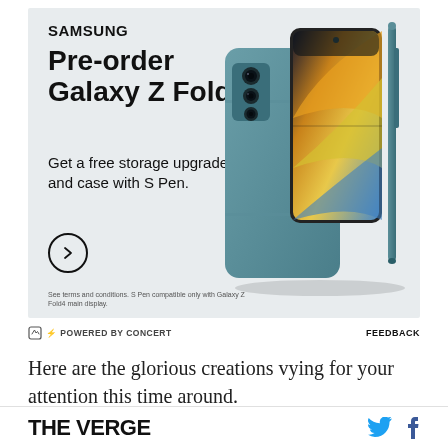[Figure (advertisement): Samsung Galaxy Z Fold4 pre-order advertisement banner. Shows Samsung logo at top, headline 'Pre-order Galaxy Z Fold4', subtext 'Get a free storage upgrade and case with S Pen.', a circular arrow button, small disclaimer text, and a product photo of the teal/green Galaxy Z Fold4 folding phone with S Pen case on the right side.]
⚡ POWERED BY CONCERT
FEEDBACK
Here are the glorious creations vying for your attention this time around.
THE VERGE